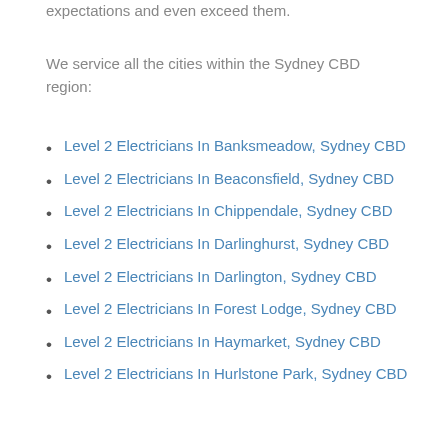expectations and even exceed them.
We service all the cities within the Sydney CBD region:
Level 2 Electricians In Banksmeadow, Sydney CBD
Level 2 Electricians In Beaconsfield, Sydney CBD
Level 2 Electricians In Chippendale, Sydney CBD
Level 2 Electricians In Darlinghurst, Sydney CBD
Level 2 Electricians In Darlington, Sydney CBD
Level 2 Electricians In Forest Lodge, Sydney CBD
Level 2 Electricians In Haymarket, Sydney CBD
Level 2 Electricians In Hurlstone Park, Sydney CBD